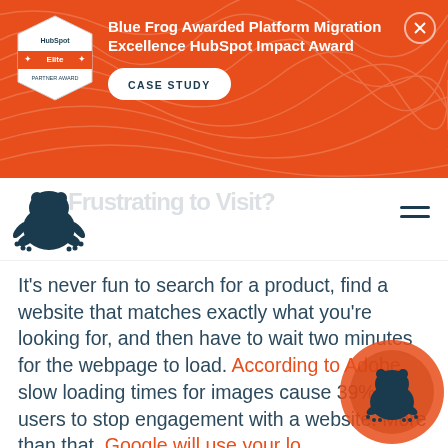[Figure (infographic): Orange banner with HubSpot Elite badge, Blue Frog award text, and Case Study button with close X button]
[Figure (logo): Blue Frog frog logo mark in dark teal/navy]
Frustrating to Visit?
It’s never fun to search for a product, find a website that matches exactly what you’re looking for, and then have to wait two minutes for the webpage to load. According to Adobe, slow loading times for images cause 39% of users to stop engagement with a website. More than that, Google will use your loading speed as a factor in determining your ranking. If your server takes more than